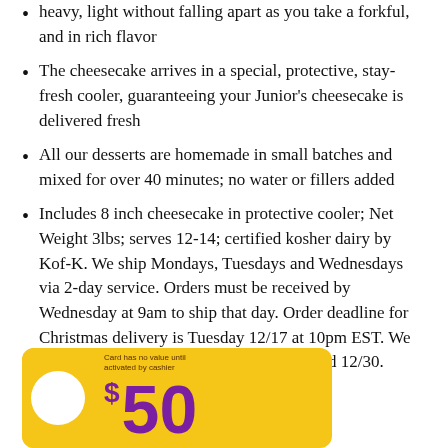heavy, light without falling apart as you take a forkful, and in rich flavor
The cheesecake arrives in a special, protective, stay-fresh cooler, guaranteeing your Junior's cheesecake is delivered fresh
All our desserts are homemade in small batches and mixed for over 40 minutes; no water or fillers added
Includes 8 inch cheesecake in protective cooler; Net Weight 3lbs; serves 12-14; certified kosher dairy by Kof-K. We ship Mondays, Tuesdays and Wednesdays via 2-day service. Orders must be received by Wednesday at 9am to ship that day. Order deadline for Christmas delivery is Tuesday 12/17 at 10pm EST. We will not be shipping the weeks of 12/23 and 12/30.
[Figure (other): Yellow gift card showing $50 denomination with purple dollar amount text and puzzle piece notch cutout design]